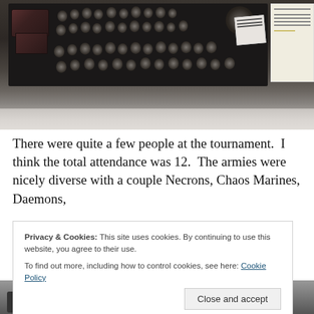[Figure (photo): Overhead view of a Warhammer 40K miniatures army arranged on a black tray on a table, showing various infantry models and a vehicle, with papers visible to the right side.]
There were quite a few people at the tournament.  I think the total attendance was 12.  The armies were nicely diverse with a couple Necrons, Chaos Marines, Daemons, Tau, Space Wolves, Space Marines, and Tyranids all
Privacy & Cookies: This site uses cookies. By continuing to use this website, you agree to their use.
To find out more, including how to control cookies, see here: Cookie Policy
[Figure (photo): Partial view of miniature figures on a table, bottom of page.]